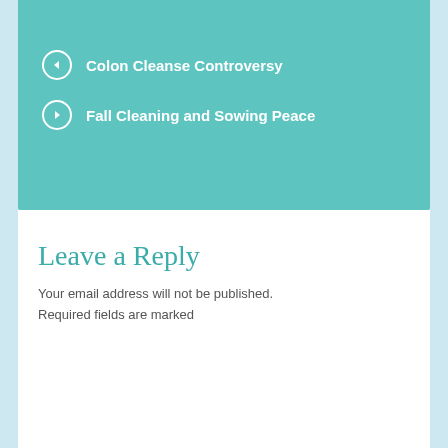Colon Cleanse Controversy
Fall Cleaning and Sowing Peace
Leave a Reply
Your email address will not be published. Required fields are marked